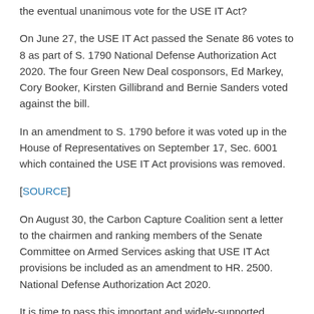the eventual unanimous vote for the USE IT Act?
On June 27, the USE IT Act passed the Senate 86 votes to 8 as part of S. 1790 National Defense Authorization Act 2020. The four Green New Deal cosponsors, Ed Markey, Cory Booker, Kirsten Gillibrand and Bernie Sanders voted against the bill.
In an amendment to S. 1790 before it was voted up in the House of Representatives on September 17, Sec. 6001 which contained the USE IT Act provisions was removed.
[SOURCE]
On August 30, the Carbon Capture Coalition sent a letter to the chairmen and ranking members of the Senate Committee on Armed Services asking that USE IT Act provisions be included as an amendment to HR. 2500. National Defense Authorization Act 2020.
It is time to pass this important and widely-supported climate and energy legislation, and the NDAA provides an appropriate opportunity to do so.
[SOURCE][SOURCE]
The vote on the House of Representatives NDAA will likely take place on November 20 or 21...